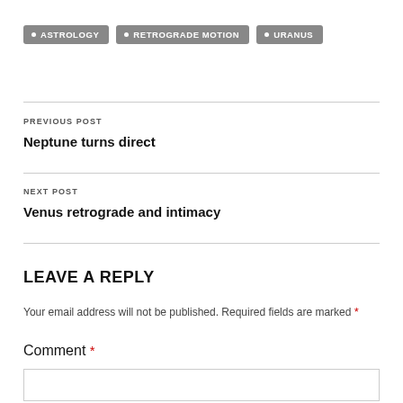• ASTROLOGY
• RETROGRADE MOTION
• URANUS
PREVIOUS POST
Neptune turns direct
NEXT POST
Venus retrograde and intimacy
LEAVE A REPLY
Your email address will not be published. Required fields are marked *
Comment *